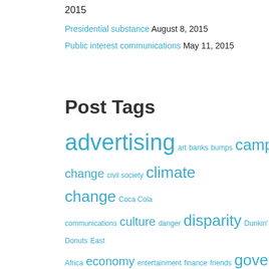2015
Presidential substance August 8, 2015
Public interest communications May 11, 2015
Post Tags
advertising art banks bumps campaign change civil society climate change Coca Cola communications culture danger disparity Dunkin' Donuts East Africa economy entertainment finance friends government humanity Kenya laws leadership lies loyalty program Manneken Pis marketing media modern times news pandemic politics public interest communications pundits raw materials resources roads social media society